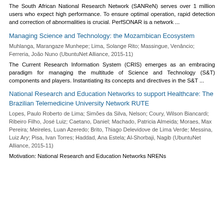The South African National Research Network (SANReN) serves over 1 million users who expect high performance. To ensure optimal operation, rapid detection and correction of abnormalities is crucial. PerfSONAR is a network ...
Managing Science and Technology: the Mozambican Ecosystem
Muhlanga, Marangaze Munhepe; Lima, Solange Rito; Massingue, Venâncio; Ferreria, João Nuno (UbuntuNet Alliance, 2015-11)
The Current Research Information System (CRIS) emerges as an embracing paradigm for managing the multitude of Science and Technology (S&T) components and players. Instantiating its concepts and directives in the S&T ...
National Research and Education Networks to support Healthcare: The Brazilian Telemedicine University Network RUTE
Lopes, Paulo Roberto de Lima; Simões da Silva, Nelson; Coury, Wilson Biancardi; Ribeiro Filho, José Luiz; Caetano, Daniel; Machado, Patricia Almeida; Moraes, Max Pereira; Meireles, Luan Azeredo; Brito, Thiago Delevidove de Lima Verde; Messina, Luiz Ary; Pisa, Ivan Torres; Haddad, Ana Estela; Al-Shorbaji, Nagib (UbuntuNet Alliance, 2015-11)
Motivation: National Research and Education Networks NRENs...